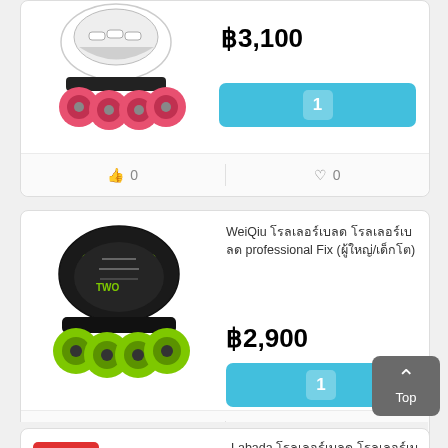[Figure (photo): White and black inline skates with pink/red wheels, partially visible at top]
฿3,100
[Figure (other): Teal/cyan quantity button showing '1']
👍 0   ♡ 0
WeiQiu โรลเลอร์เบลด โรลเลอร์เบลด professional Fix (ผู้ใหญ่/เด็กโต)
[Figure (photo): Black and green inline skates (WeiQiu brand)]
฿2,900
[Figure (other): Teal/cyan quantity button showing '1']
👍 0   ♡ 0
[Figure (other): Gray 'Top' back-to-top button with upward chevron]
-33.72%
Labada โรลเลอร์เบลด โรลเลอร์เบลด สำหรับเด็ก